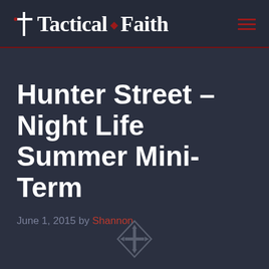Tactical Faith
Hunter Street – Night Life Summer Mini-Term
June 1, 2015 by Shannon
[Figure (logo): Tactical Faith logo icon — a cross with directional arrows, in dark outline style]